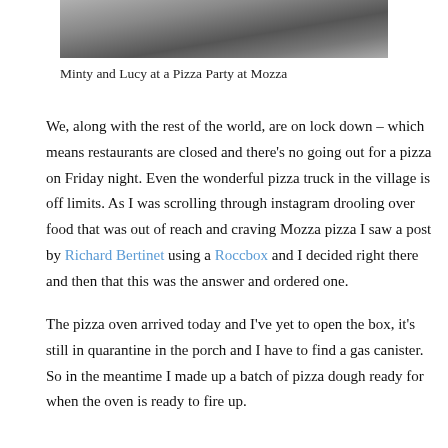[Figure (photo): Partial photo of Minty and Lucy at a Pizza Party at Mozza — top portion of the image showing a food scene, cropped at top of page]
Minty and Lucy at a Pizza Party at Mozza
We, along with the rest of the world, are on lock down – which means restaurants are closed and there's no going out for a pizza on Friday night. Even the wonderful pizza truck in the village is off limits. As I was scrolling through instagram drooling over food that was out of reach and craving Mozza pizza I saw a post by Richard Bertinet using a Roccbox and I decided right there and then that this was the answer and ordered one.
The pizza oven arrived today and I've yet to open the box, it's still in quarantine in the porch and I have to find a gas canister. So in the meantime I made up a batch of pizza dough ready for when the oven is ready to fire up.